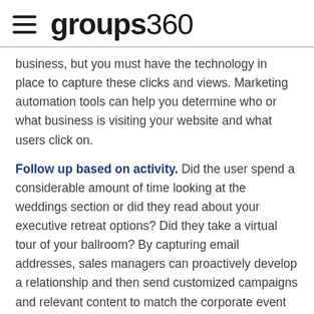groups360
business, but you must have the technology in place to capture these clicks and views. Marketing automation tools can help you determine who or what business is visiting your website and what users click on.
Follow up based on activity. Did the user spend a considerable amount of time looking at the weddings section or did they read about your executive retreat options? Did they take a virtual tour of your ballroom? By capturing email addresses, sales managers can proactively develop a relationship and then send customized campaigns and relevant content to match the corporate event planner's interests throughout the year.